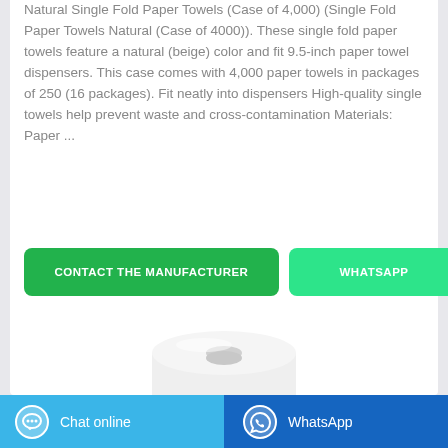Natural Single Fold Paper Towels (Case of 4,000) (Single Fold Paper Towels Natural (Case of 4000)). These single fold paper towels feature a natural (beige) color and fit 9.5-inch paper towel dispensers. This case comes with 4,000 paper towels in packages of 250 (16 packages). Fit neatly into dispensers High-quality single towels help prevent waste and cross-contamination Materials: Paper ...
[Figure (other): Two call-to-action buttons: green 'CONTACT THE MANUFACTURER' button and bright green 'WHATSAPP' button]
[Figure (photo): White paper towel roll product image on white background]
[Figure (other): Bottom navigation bar with light blue 'Chat online' button on left and dark blue 'WhatsApp' button on right]